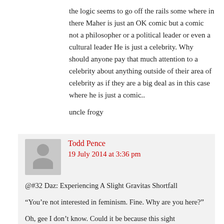the logic seems to go off the rails some where in there Maher is just an OK comic but a comic not a philosopher or a political leader or even a cultural leader He is just a celebrity. Why should anyone pay that much attention to a celebrity about anything outside of their area of celebrity as if they are a big deal as in this case where he is just a comic..
uncle frogy
Todd Pence
19 July 2014 at 3:36 pm
@#32 Daz: Experiencing A Slight Gravitas Shortfall
“You’re not interested in feminism. Fine. Why are you here?”
Oh, gee I don’t know. Could it be because this sight